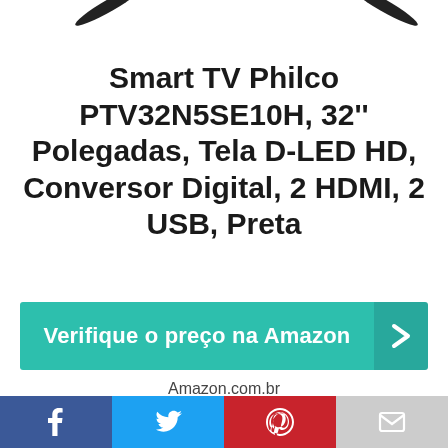[Figure (photo): Partial view of a Philco Smart TV showing the top portion of the TV with antennas on a white background]
Smart TV Philco PTV32N5SE10H, 32'' Polegadas, Tela D-LED HD, Conversor Digital, 2 HDMI, 2 USB, Preta
Verifique o preço na Amazon
Amazon.com.br
[Figure (infographic): Social sharing bar with Facebook, Twitter, Pinterest, and email icons]